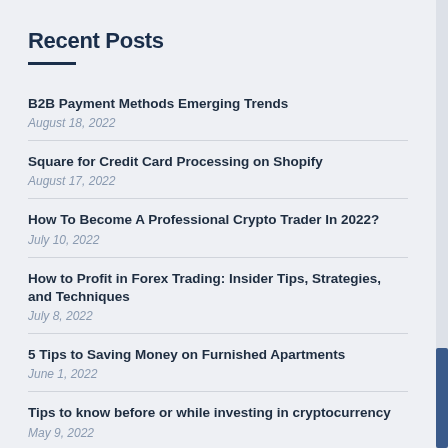Recent Posts
B2B Payment Methods Emerging Trends
August 18, 2022
Square for Credit Card Processing on Shopify
August 17, 2022
How To Become A Professional Crypto Trader In 2022?
July 10, 2022
How to Profit in Forex Trading: Insider Tips, Strategies, and Techniques
July 8, 2022
5 Tips to Saving Money on Furnished Apartments
June 1, 2022
Tips to know before or while investing in cryptocurrency
May 9, 2022